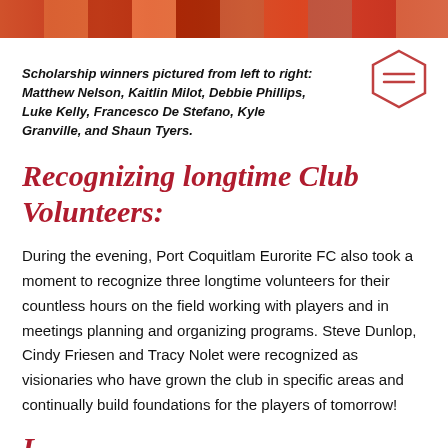[Figure (photo): Color photo strip of scholarship winners across the top of the page]
Scholarship winners pictured from left to right: Matthew Nelson, Kaitlin Milot, Debbie Phillips, Luke Kelly, Francesco De Stefano, Kyle Granville, and Shaun Tyers.
Recognizing longtime Club Volunteers:
During the evening, Port Coquitlam Eurorite FC also took a moment to recognize three longtime volunteers for their countless hours on the field working with players and in meetings planning and organizing programs. Steve Dunlop, Cindy Friesen and Tracy Nolet were recognized as visionaries who have grown the club in specific areas and continually build foundations for the players of tomorrow!